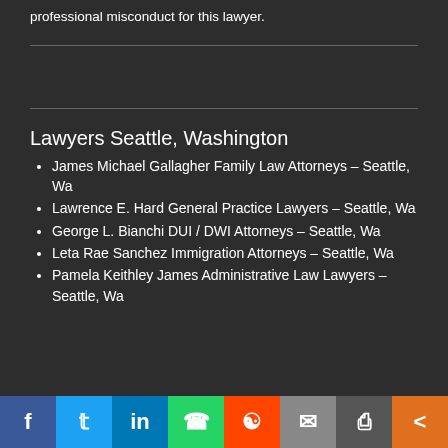professional misconduct for this lawyer.
Lawyers Seattle, Washington
James Michael Gallagher Family Law Attorneys – Seattle, Wa
Lawrence E. Hard General Practice Lawyers – Seattle, Wa
George L. Bianchi DUI / DWI Attorneys – Seattle, Wa
Leta Rae Sanchez Immigration Attorneys – Seattle, Wa
Pamela Keithley James Administrative Law Lawyers – Seattle, Wa